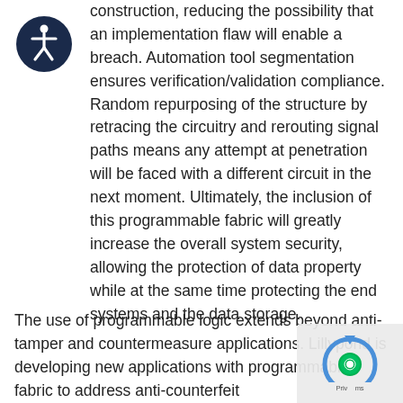[Figure (logo): Accessibility icon — white wheelchair figure on dark navy circle background]
construction, reducing the possibility that an implementation flaw will enable a breach. Automation tool segmentation ensures verification/validation compliance. Random repurposing of the structure by retracing the circuitry and rerouting signal paths means any attempt at penetration will be faced with a different circuit in the next moment. Ultimately, the inclusion of this programmable fabric will greatly increase the overall system security, allowing the protection of data property while at the same time protecting the end systems and the data storage.
The use of programmable logic extends beyond anti-tamper and countermeasure applications. Lillypond is developing new applications with programmable fabric to address anti-counterfeit